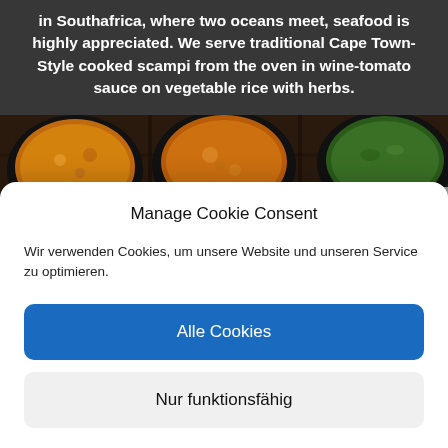in Southafrica, where two oceans meet, seafood is highly appreciated. We serve traditional Cape Town-Style cooked scampi from the oven in wine-tomato sauce on vegetable rice with herbs.
[Figure (photo): Top-down view of multiple black bowls filled with various cooked dishes including rice, stew and vegetables, arranged on a dark wooden surface.]
Manage Cookie Consent
Wir verwenden Cookies, um unsere Website und unseren Service zu optimieren.
Alle Cookies
Nur funktionsfähig